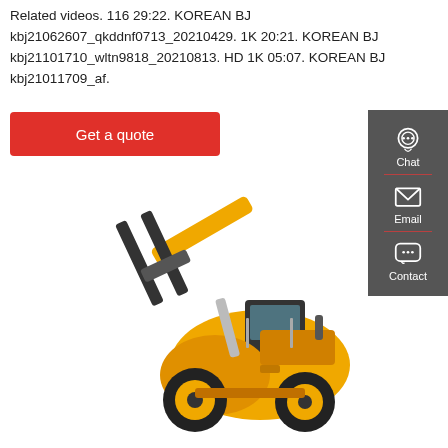Related videos. 116 29:22. KOREAN BJ kbj21062607_qkddnf0713_20210429. 1K 20:21. KOREAN BJ kbj21101710_wltn9818_20210813. HD 1K 05:07. KOREAN BJ kbj21011709_af.
Get a quote
[Figure (screenshot): Sidebar with chat, email, and contact icons on dark grey background]
[Figure (photo): Yellow wheel loader / forklift construction machine with forks raised, on white background]